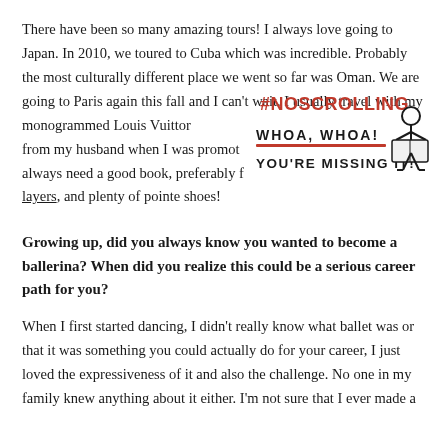There have been so many amazing tours! I always love going to Japan. In 2010, we toured to Cuba which was incredible. Probably the most culturally different place we went so far was Oman. We are going to Paris again this fall and I can't wait. I usually travel with my monogrammed Louis Vuitton from my husband when I was promoted always need a good book, preferably f layers, and plenty of pointe shoes!
[Figure (infographic): #NOSCROLLING infographic with text 'WHOA, WHOA! YOU'RE MISSING IT!' and a stick figure reading a book]
Growing up, did you always know you wanted to become a ballerina? When did you realize this could be a serious career path for you?
When I first started dancing, I didn't really know what ballet was or that it was something you could actually do for your career, I just loved the expressiveness of it and also the challenge. No one in my family knew anything about it either. I'm not sure that I ever made a